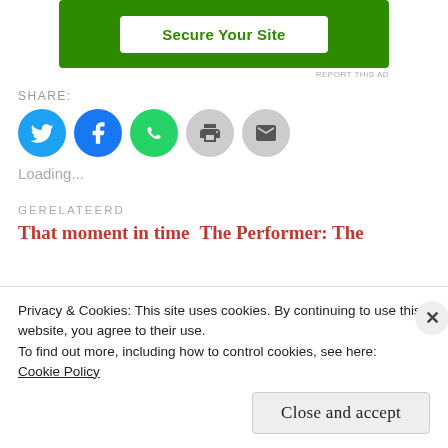[Figure (other): Green advertisement banner with white button labeled 'Secure Your Site']
REPORT THIS AD
SHARE:
[Figure (infographic): Social share icons: Twitter (blue), Facebook (blue), WhatsApp (green), Print (gray), Email (gray)]
Loading...
GERELATEERD
That moment in time    The Performer: The
Privacy & Cookies: This site uses cookies. By continuing to use this website, you agree to their use.
To find out more, including how to control cookies, see here:
Cookie Policy
Close and accept